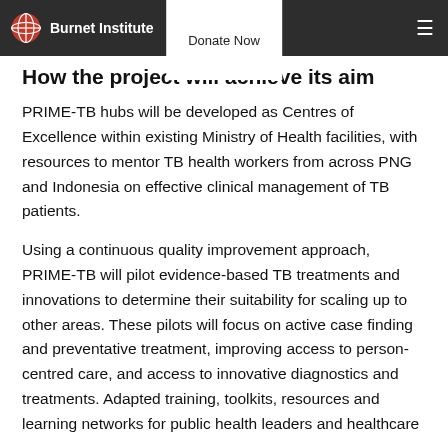Burnet Institute | Donate Now
How the project will achieve its aim
PRIME-TB hubs will be developed as Centres of Excellence within existing Ministry of Health facilities, with resources to mentor TB health workers from across PNG and Indonesia on effective clinical management of TB patients.
Using a continuous quality improvement approach, PRIME-TB will pilot evidence-based TB treatments and innovations to determine their suitability for scaling up to other areas. These pilots will focus on active case finding and preventative treatment, improving access to person-centred care, and access to innovative diagnostics and treatments. Adapted training, toolkits, resources and learning networks for public health leaders and healthcare